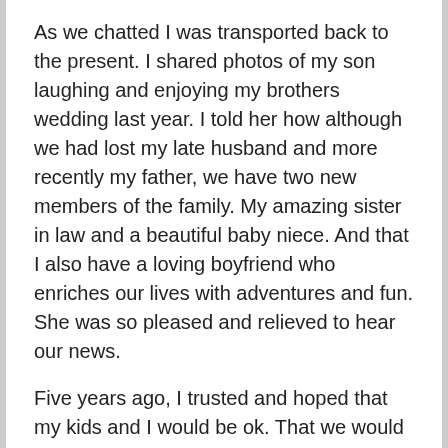As we chatted I was transported back to the present. I shared photos of my son laughing and enjoying my brothers wedding last year. I told her how although we had lost my late husband and more recently my father, we have two new members of the family. My amazing sister in law and a beautiful baby niece. And that I also have a loving boyfriend who enriches our lives with adventures and fun. She was so pleased and relieved to hear our news.
Five years ago, I trusted and hoped that my kids and I would be ok. That we would be resilient and embrace life and love.
I gazed up at the expansive blue sky as I strode back to my car. How are we? We are way better than okay!